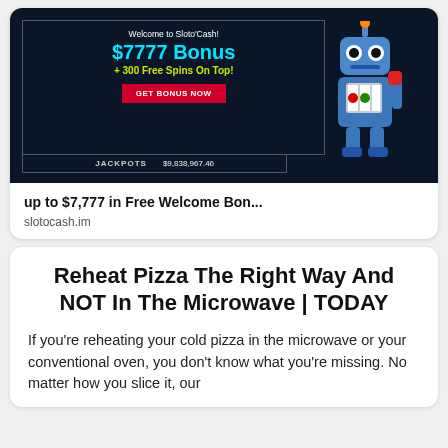[Figure (screenshot): Online casino advertisement for Sloto'Cash showing $7777 Bonus + 300 Free Spins On Top with a GET BONUS NOW red button and JACKPOTS $9,838,967.46 with a robot mascot on dark background]
up to $7,777 in Free Welcome Bon...
slotocash.im
Reheat Pizza The Right Way And NOT In The Microwave | TODAY
If you’re reheating your cold pizza in the microwave or your conventional oven, you don’t know what you’re missing. No matter how you slice it, our